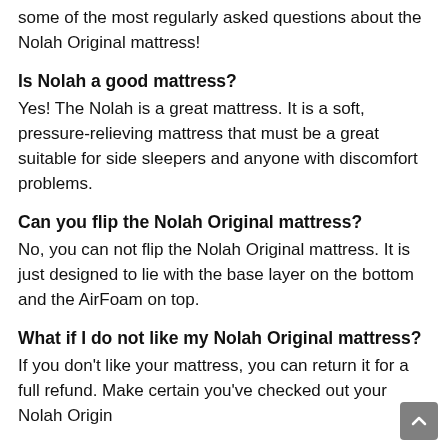some of the most regularly asked questions about the Nolah Original mattress!
Is Nolah a good mattress?
Yes! The Nolah is a great mattress. It is a soft, pressure-relieving mattress that must be a great suitable for side sleepers and anyone with discomfort problems.
Can you flip the Nolah Original mattress?
No, you can not flip the Nolah Original mattress. It is just designed to lie with the base layer on the bottom and the AirFoam on top.
What if I do not like my Nolah Original mattress?
If you don't like your mattress, you can return it for a full refund. Make certain you've checked out your Nolah Original mattress for one month prior to you call the business...